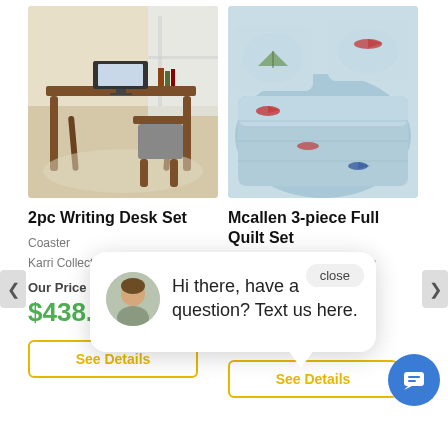[Figure (photo): Brown wooden writing desk with a matching chair on a beige rug in a home office setting]
[Figure (photo): Light blue quilt set with airplane/vehicle print, shown folded with pillows]
2pc Writing Desk Set
Mcallen 3-piece Full Quilt Set
Coaster
Signature Design By Ashley
Karri Collection
Mcallen Multi Collection
Our Price
$438.99
Our Price
$100.99
See Details
See Details
Hi there, have a question? Text us here.
close